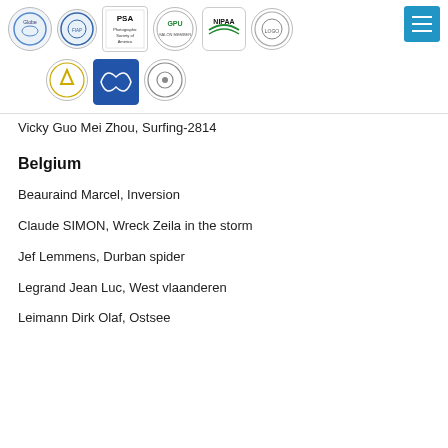[Figure (logo): Row of organization logos including PSA, GPU, NIPAA and others, with a hamburger menu button in the top right]
Vicky Guo Mei Zhou, Surfing-2814
Belgium
Beauraind Marcel, Inversion
Claude SIMON, Wreck Zeila in the storm
Jef Lemmens, Durban spider
Legrand Jean Luc, West vlaanderen
Leimann Dirk Olaf, Ostsee